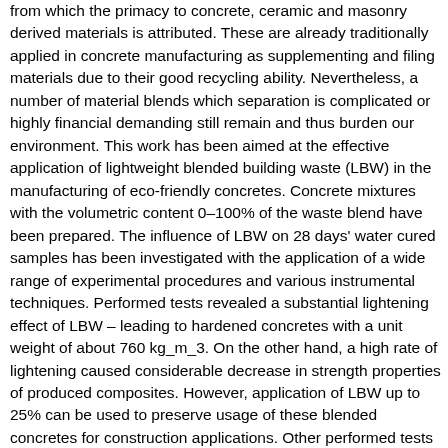from which the primacy to concrete, ceramic and masonry derived materials is attributed. These are already traditionally applied in concrete manufacturing as supplementing and filing materials due to their good recycling ability. Nevertheless, a number of material blends which separation is complicated or highly financial demanding still remain and thus burden our environment. This work has been aimed at the effective application of lightweight blended building waste (LBW) in the manufacturing of eco-friendly concretes. Concrete mixtures with the volumetric content 0–100% of the waste blend have been prepared. The influence of LBW on 28 days' water cured samples has been investigated with the application of a wide range of experimental procedures and various instrumental techniques. Performed tests revealed a substantial lightening effect of LBW – leading to hardened concretes with a unit weight of about 760 kg_m_3. On the other hand, a high rate of lightening caused considerable decrease in strength properties of produced composites. However, application of LBW up to 25% can be used to preserve usage of these blended concretes for construction applications. Other performed tests showed excellent thermal performance of waste aggregate enriched concretes, and thus these materials may find usage for special filling and flooring applications with minimum